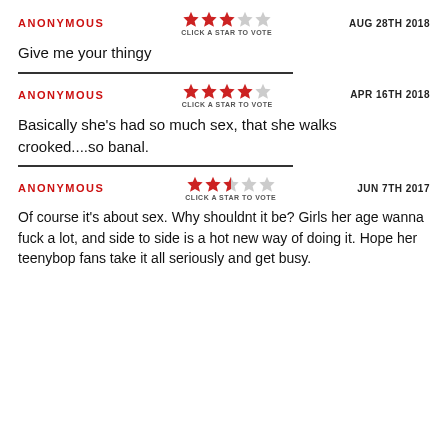ANONYMOUS | AUG 28TH 2018 | 3 stars | Give me your thingy
ANONYMOUS | APR 16TH 2018 | 4 stars | Basically she's had so much sex, that she walks crooked....so banal.
ANONYMOUS | JUN 7TH 2017 | 2.5 stars | Of course it's about sex. Why shouldnt it be? Girls her age wanna fuck a lot, and side to side is a hot new way of doing it. Hope her teenybop fans take it all seriously and get busy.